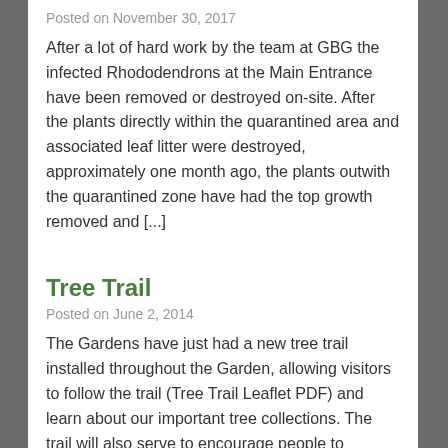Posted on November 30, 2017
After a lot of hard work by the team at GBG the infected Rhododendrons at the Main Entrance have been removed or destroyed on-site. After the plants directly within the quarantined area and associated leaf litter were destroyed, approximately one month ago, the plants outwith the quarantined zone have had the top growth removed and [...]
Tree Trail
Posted on June 2, 2014
The Gardens have just had a new tree trail installed throughout the Garden, allowing visitors to follow the trail (Tree Trail Leaflet PDF) and learn about our important tree collections. The trail will also serve to encourage people to explore the Gardens, pointing them around exciting and fascinating tree…